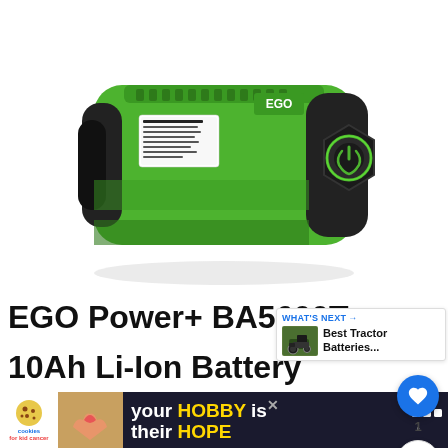[Figure (photo): Green and black EGO Power+ BA5600T 10Ah lithium-ion battery pack, rectangular shape with ridged green plastic housing and black rubber ends, power button with green LED ring on front face, product label on top]
EGO Power+ BA5600T
10Ah Li-Ion Battery
[Figure (other): WHAT'S NEXT callout box showing a tractor thumbnail image with text 'Best Tractor Batteries...']
[Figure (other): Advertisement banner: cookies for kid cancer logo, photo of hands holding a heart, text 'your HOBBY is their HOPE']